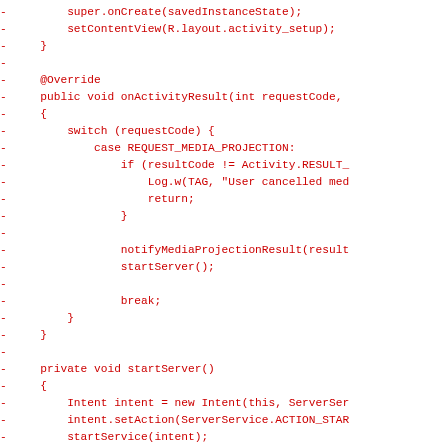Code diff showing deleted lines (red) of Java Android code including onActivityResult, startServer, and stopServer methods